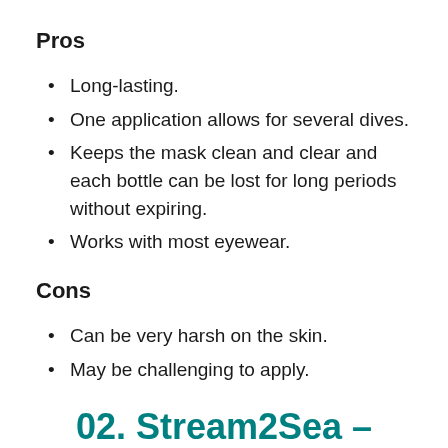Pros
Long-lasting.
One application allows for several dives.
Keeps the mask clean and clear and each bottle can be lost for long periods without expiring.
Works with most eyewear.
Cons
Can be very harsh on the skin.
May be challenging to apply.
02. Stream2Sea – Best Natural Anti-Fog for Scuba